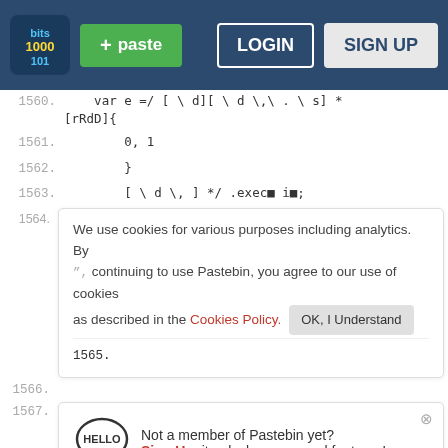[Figure (screenshot): Pastebin navigation bar with logo, green paste button, LOGIN and SIGN UP buttons on dark blue background]
1560.    var e =/ [ \ d][ \ d \,\ . \ s] * [rRdD]{
1561.        0, 1
1562.        }
1563.        [ \ d \, ] */ .exec� i�;
Cookie banner: We use cookies for various purposes including analytics. By continuing to use Pastebin, you agree to our use of cookies as described in the Cookies Policy. OK, I Understand
Not a member of Pastebin yet? Sign Up, it unlocks many cool features!
1569.    m = g.hasMimeType� j.mimeType� ;
1570.    if � m� {
1571.        f = g.getDOMobj� g.insertHTML � "object", ["type", j.mimeType], [], "", j��;